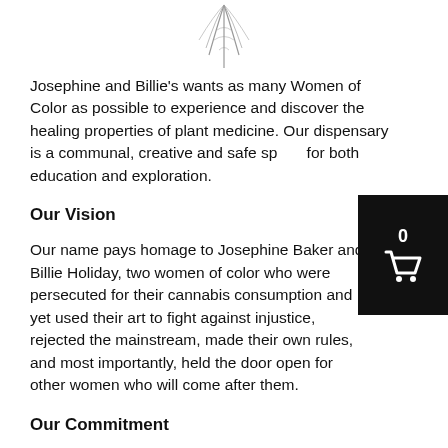[Figure (illustration): Partial view of a feather or leaf illustration at the top center of the page]
Josephine and Billie's wants as many Women of Color as possible to experience and discover the healing properties of plant medicine. Our dispensary is a communal, creative and safe s[pace] for both education and exploration.
Our Vision
Our name pays homage to Josephine Baker and Billie Holiday, two women of color who were persecuted for their cannabis consumption and yet used their art to fight against injustice, rejected the mainstream, made their own rules, and most importantly, held the door open for other women who will come after them.
Our Commitment